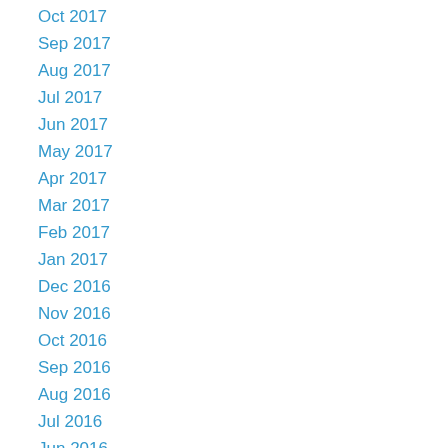Oct 2017
Sep 2017
Aug 2017
Jul 2017
Jun 2017
May 2017
Apr 2017
Mar 2017
Feb 2017
Jan 2017
Dec 2016
Nov 2016
Oct 2016
Sep 2016
Aug 2016
Jul 2016
Jun 2016
May 2016
Apr 2016
Mar 2016